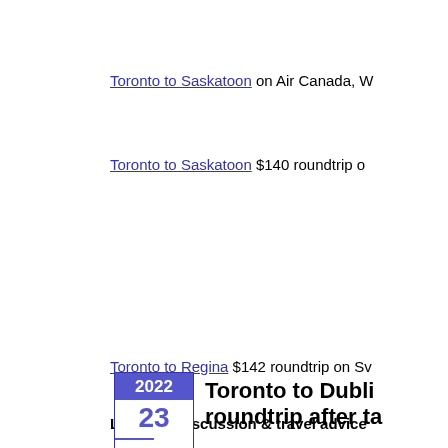Toronto to Saskatoon on Air Canada, W
Toronto to Saskatoon $140 roundtrip o
Toronto to Regina $142 roundtrip on Sv
Live deal discussion & travel advice
For live discussion of this deal, or to ge from your 112,000 fellow passengers in YYZ Deals Facebook Group. ^^ click the 'Join Group' button when yo
Hit Like if you like this deal! Click Share
0 Comments
[Figure (other): Calendar date box showing year 2022 and day 23]
Toronto to Dubli... roundtrip after ta...